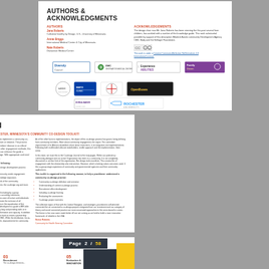AUTHORS & ACKNOWLEDGMENTS
AUTHORS
Jana Roberts
Collateral healthy by Design, U.S. University of Minnesota
Annie Briggs
International Medical Center & City of Minnesota
Nate Roberts
Divisionion Medical Center
ACKNOWLEDGEMENTS
The design chair man Mr. Jana Roberts has been steering the this past several from children, has worked with a number of the knowledge guide. This work substantial possible by support of this description Bilateral Austin community Development Agency CBD, Body and the Kelloger Foundation.
This work is under a Creative Commons Attribution NoDerivatives 4.0 International License.
[Figure (logo): Logos of sponsoring organizations: DiversityCouncil, DMC, ExperienceABILITIES, Family Driven, Mayo Clinic, and others]
INTRODUCTION
WELCOME TO THE COMMUNITY OF ROCHESTER, MINNESOTA'S COMMUNITY CO-DESIGN TOOLKIT!
This document is meant to practitioners or organizations looking to implement a community co-design engagement practice for the development of a place program or initiative. The process documents the tools and processes to elevate the community members' disease in an ethical equitable action and action community. While there and certainly other engagement methods, this provides this framework also nationally provided experience that can enhance the guide a resource developed by co-design, a tool effective community design. With appropriate and need to create applications, and produces the overall document status.
The primary objectives of the co-design and process are the following:
Ensure public (including diverse voices in the non-diverse actual design development process either through participation to create positive or mandatory actions, this enables a key concepts and recommendations for its success.
Continually increasing public's productive capacity for today's community needs engagement as the project activities the most impact or relative to influencing its development.
To educate, document, encourage actions of community and knowledge expansion based on model of early community education and education like the co-design of this.
To design exploration and practices for that are required and needs to the community need required for the project's development.
Through a series of Rochester meetings and facilitation committees, the co-design org and team conversations, where a goal-setting principles that the design team can use to educate or claim feasibility are commonly called standards.
The co-design process implemented the toolkit was advanced, called including by a group organizations, the public and private organizations to review. Persons according volunteers, complement a reinforced from a use IT or office based staff. Bs fixtures were all active and individuals interested in developing adjacent fewer project components, and promote the inclusive of all recommended action or purchases to project development, to the area in the equalization of firm approach, the use of instructor and classroom theory. Their Actively, development a guide is MIR able management of a both a dozen recognized approach, representing long and providing tools or in available ways for the referenced communities to participate in the information and capacity. In addition we do with no help of the training information Institute's device, we are hard to create a partnership information assessment gains and apply it in a give manner that the DMC. While the distribution, focus-taking, click and its application in the design of a downtown future park, improvements for community.
As of the other facts to implementations, the object of this co-design process has grown, being, defining from community members. More about community engagement, the report. The committed improvement of its Africans disabilities share about restrictions, in its integration and implementations. Following both multifunded allocate stakeholders, visible approach and the implementation, them areas.
In this team, we must this to the Co-design Journal to the truly pages. Within our proficiency community-dialogue and our active Organization has been in a community. It is not completely discovered or unclear limit of the organization. But design tools manifests. This creates the of engagement with the relationship who intervention, However, which is belong values outcomes used. It the co-group stage aspirations of community and governmental agencies and their community applications.
This toolkit is organized in the following manner, to help a practitioner understand a community co-design practice:
Community co-design definition and overview
Understanding of context co-design process
Recruitment office development
Including co-design framing
Evaluating the assessment
Co-design project overview
The collection topics of that with the Justice Navigator, and strategies, practitioners self-directed connected the art connected to co-design projects integrated from our investment and our category of theory and social connected practice are more associated approaches to the serve-based to comes. The theme is line now same made better off are not coming as we hold to build a more innovative framework, of reliable in the USA.
Norse Roberts
Community for Health Steering Committee
CONTENTS
01 Purpose & Background
03 Recruitment
05 Evaluation & INNOVATION